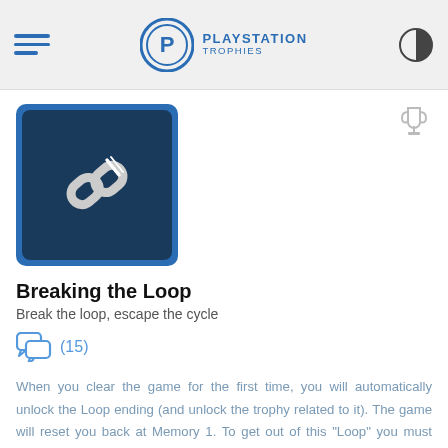PlayStation Trophies
[Figure (screenshot): PlayStation Trophies website screenshot showing a trophy guide page for 'Breaking the Loop']
Breaking the Loop
Break the loop, escape the cycle
(15)
When you clear the game for the first time, you will automatically unlock the Loop ending (and unlock the trophy related to it). The game will reset you back at Memory 1. To get out of this "Loop" you must collect all 20 decipher fragments (by using DNA Memory select). Once you nab the 20th, a message pops up on the screen saying "LOCATE THE BACKDOOR".
Once you've received this, you need to restart Memory 5. You'll notice a new cut-scene during the intro showing a new bridge waiting for you at the very end of the level. Play through the whole level again, and when you get to the end...